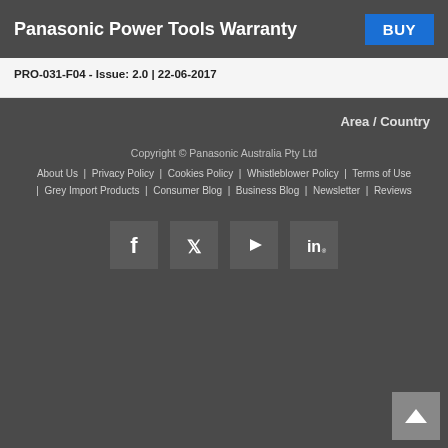Panasonic Power Tools Warranty
PRO-031-F04 - Issue: 2.0 | 22-06-2017
Area / Country
Copyright © Panasonic Australia Pty Ltd
About Us | Privacy Policy | Cookies Policy | Whistleblower Policy | Terms of Use | Grey Import Products | Consumer Blog | Business Blog | Newsletter | Reviews
[Figure (logo): Social media icons: Facebook, Twitter, YouTube, LinkedIn]